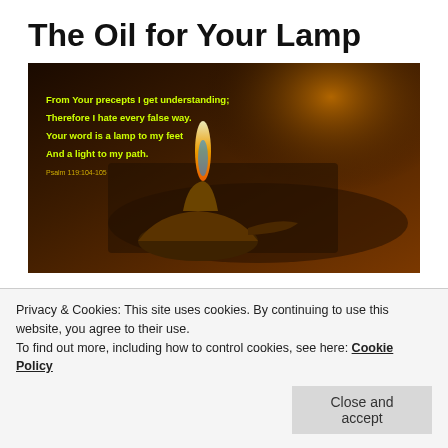The Oil for Your Lamp
[Figure (photo): A dark image of an oil lamp with a flame burning, placed in front of an open book. Text overlay in yellow reads: 'From Your precepts I get understanding; Therefore I hate every false way. Your word is a lamp to my feet And a light to my path. Psalm 119:104-105']
If You Have Not Read the
Privacy & Cookies: This site uses cookies. By continuing to use this website, you agree to their use.
To find out more, including how to control cookies, see here: Cookie Policy
Close and accept